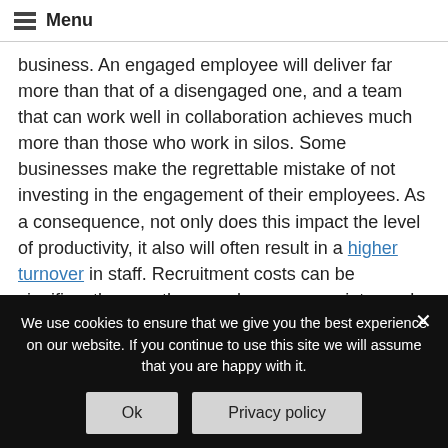Menu
business. An engaged employee will deliver far more than that of a disengaged one, and a team that can work well in collaboration achieves much more than those who work in silos. Some businesses make the regrettable mistake of not investing in the engagement of their employees. As a consequence, not only does this impact the level of productivity, it also will often result in a higher turnover in staff. Recruitment costs can be significantly more than employers appreciate, and therefore spending some extra budget on employee engagement is considered
We use cookies to ensure that we give you the best experience on our website. If you continue to use this site we will assume that you are happy with it.
Ok
Privacy policy